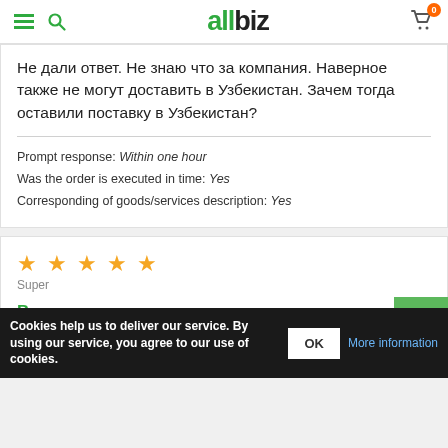allbiz
Не дали ответ. Не знаю что за компания. Наверное также не могут доставить в Узбекистан. Зачем тогда оставили поставку в Узбекистан?
Prompt response: Within one hour
Was the order is executed in time: Yes
Corresponding of goods/services description: Yes
★★★★★ Super
Buyer
20.12.2021
Cookies help us to deliver our service. By using our service, you agree to our use of cookies. OK More information